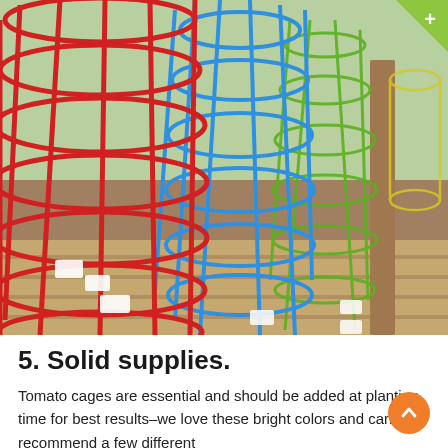[Figure (photo): Colorful wire tomato cages stacked and leaning in red, blue, green, and yellow colors at a garden supply store, displayed on a wooden pallet outdoors.]
5. Solid supplies.
Tomato cages are essential and should be added at planting time for best results–we love these bright colors and can recommend a few different